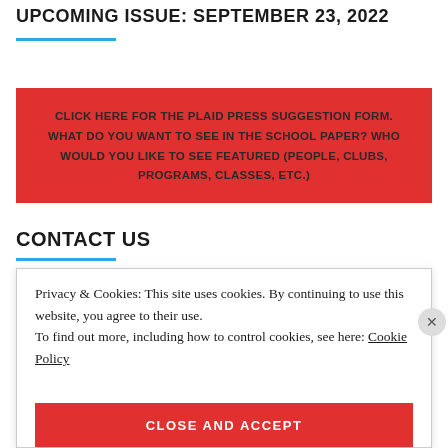UPCOMING ISSUE: SEPTEMBER 23, 2022
CLICK HERE FOR THE PLAID PRESS SUGGESTION FORM. WHAT DO YOU WANT TO SEE IN THE SCHOOL PAPER? WHO WOULD YOU LIKE TO SEE FEATURED (PEOPLE, CLUBS, PROGRAMS, CLASSES, ETC.)
CONTACT US
Privacy & Cookies: This site uses cookies. By continuing to use this website, you agree to their use.
To find out more, including how to control cookies, see here: Cookie Policy
CLOSE AND ACCEPT